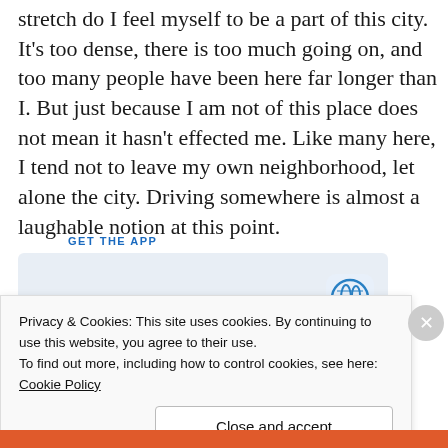stretch do I feel myself to be a part of this city. It's too dense, there is too much going on, and too many people have been here far longer than I. But just because I am not of this place does not mean it hasn't effected me. Like many here, I tend not to leave my own neighborhood, let alone the city. Driving somewhere is almost a laughable notion at this point.
[Figure (screenshot): App download banner with WordPress logo icon and 'GET THE APP' text in blue]
Privacy & Cookies: This site uses cookies. By continuing to use this website, you agree to their use.
To find out more, including how to control cookies, see here:
Cookie Policy
Close and accept